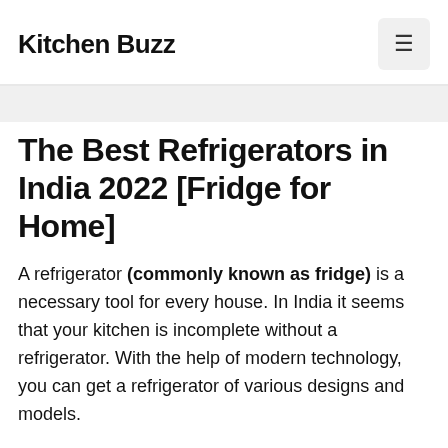Kitchen Buzz
The Best Refrigerators in India 2022 [Fridge for Home]
A refrigerator (commonly known as fridge) is a necessary tool for every house. In India it seems that your kitchen is incomplete without a refrigerator. With the help of modern technology, you can get a refrigerator of various designs and models.